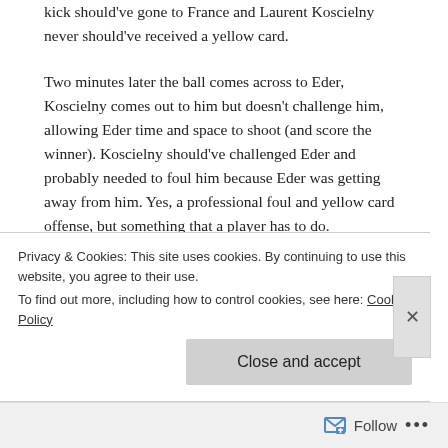kick should've gone to France and Laurent Koscielny never should've received a yellow card.
Two minutes later the ball comes across to Eder, Koscielny comes out to him but doesn't challenge him, allowing Eder time and space to shoot (and score the winner). Koscielny should've challenged Eder and probably needed to foul him because Eder was getting away from him. Yes, a professional foul and yellow card offense, but something that a player has to do.
Privacy & Cookies: This site uses cookies. By continuing to use this website, you agree to their use.
To find out more, including how to control cookies, see here: Cookie Policy
Close and accept
Follow ...